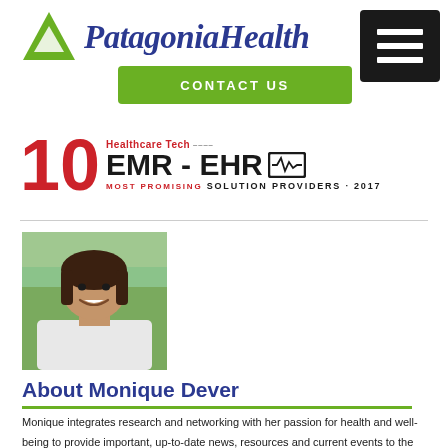[Figure (logo): Patagonia Health logo with green triangle icon and italic blue text]
[Figure (other): Green CONTACT US button]
[Figure (other): Black hamburger menu button]
[Figure (other): Healthcare Tech 10 Most Promising EMR-EHR Solution Providers 2017 badge]
[Figure (photo): Portrait photo of Monique Dever, a woman with dark hair smiling outdoors]
About Monique Dever
Monique integrates research and networking with her passion for health and well-being to provide important, up-to-date news, resources and current events to the public health communities. She is the Marketing Executive for Patagonia Health, an Electronic Health Records (EHR) software company focused on the public health sector,